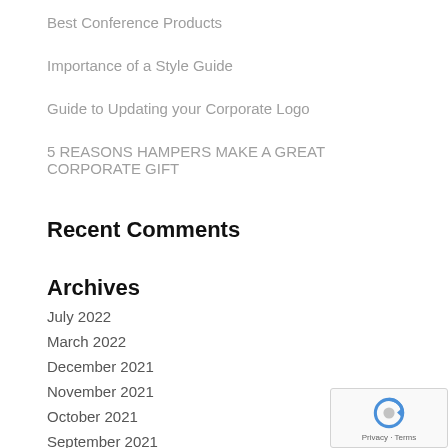Best Conference Products
Importance of a Style Guide
Guide to Updating your Corporate Logo
5 REASONS HAMPERS MAKE A GREAT CORPORATE GIFT
Recent Comments
Archives
July 2022
March 2022
December 2021
November 2021
October 2021
September 2021